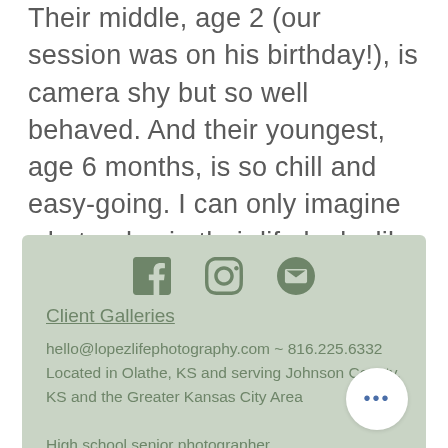Their middle, age 2 (our session was on his birthday!), is camera shy but so well behaved. And their youngest, age 6 months, is so chill and easy-going. I can only imagine what a day in their life looks like with three littles but I am sure as t
[Figure (other): Footer section with social media icons (Facebook, Instagram, Email), a Client Galleries link, contact info (hello@lopezlifephotography.com ~ 816.225.6332), location info, and photographer description. A white circular more button with three dots appears in the lower right.]